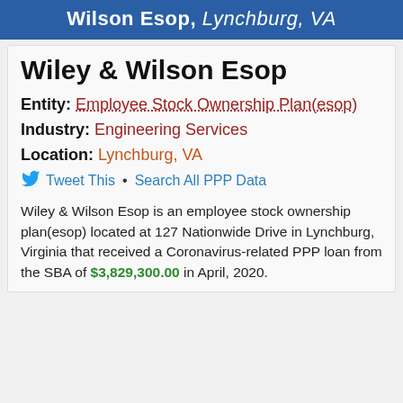Wilson Esop, Lynchburg, VA
Wiley & Wilson Esop
Entity: Employee Stock Ownership Plan(esop)
Industry: Engineering Services
Location: Lynchburg, VA
Tweet This • Search All PPP Data
Wiley & Wilson Esop is an employee stock ownership plan(esop) located at 127 Nationwide Drive in Lynchburg, Virginia that received a Coronavirus-related PPP loan from the SBA of $3,829,300.00 in April, 2020.